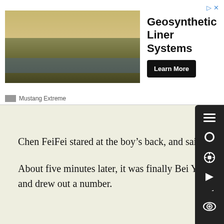[Figure (screenshot): Advertisement banner for Geosynthetic Liner Systems by Mustang Extreme. Shows a landscape photo of a lined reservoir or containment area, with bold text 'Geosynthetic Liner Systems', a 'Learn More' button, and the advertiser name 'Mustang Extreme'.]
Chen FeiFei stared at the boy’s back, and said nothing.
About five minutes later, it was finally Bei Yao and Chen FeiFei’s turn. The two girls put their hands into the box and drew out a number.